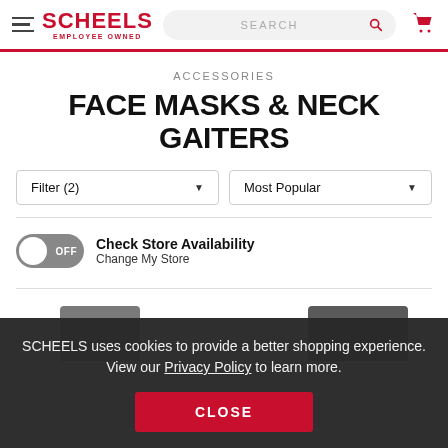[Figure (screenshot): Scheels website header with hamburger menu, logo, search bar, and cart icon]
ACCESSORIES
FACE MASKS & NECK GAITERS
Filter (2) | Most Popular
Check Store Availability
Change My Store
SCHEELS uses cookies to provide a better shopping experience. View our Privacy Policy to learn more.
CLOSE